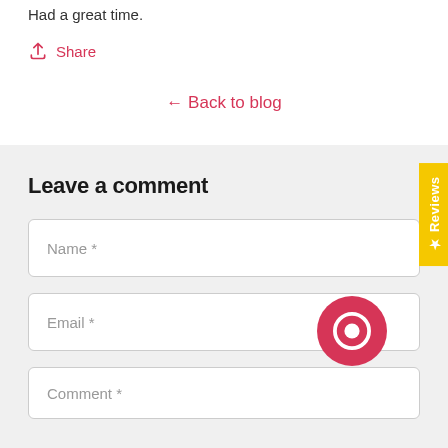Had a great time.
↑ Share
← Back to blog
Leave a comment
Name *
Email *
Comment *